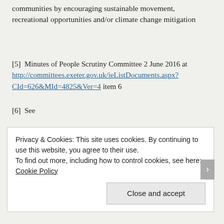communities by encouraging sustainable movement, recreational opportunities and/or climate change mitigation
[5]  Minutes of People Scrutiny Committee 2 June 2016 at http://committees.exeter.gov.uk/ieListDocuments.aspx?CId=626&MId=4825&Ver=4 item 6
[6]  See
Privacy & Cookies: This site uses cookies. By continuing to use this website, you agree to their use.
To find out more, including how to control cookies, see here: Cookie Policy